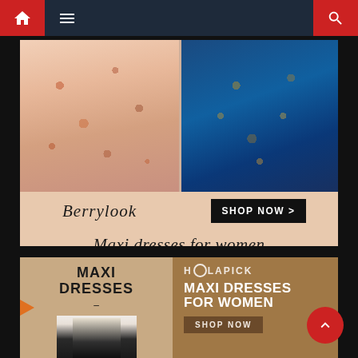[Figure (screenshot): Website navigation bar with red home icon, hamburger menu, dark blue background, and red search icon on right]
[Figure (illustration): Berrylook advertisement banner showing two maxi dresses - a floral pink/orange dress on the left and a blue embroidered dress on the right. Berrylook logo in script font on bottom left, SHOP NOW button on bottom right. Tagline: Maxi dresses for women in italic serif font.]
[Figure (illustration): Holapick advertisement banner showing MAXI DRESSES text and partial model photo on left panel, and HOLAPICK logo with MAXI DRESSES FOR WOMEN heading and SHOP NOW button on right panel, partial model photo in bottom right.]